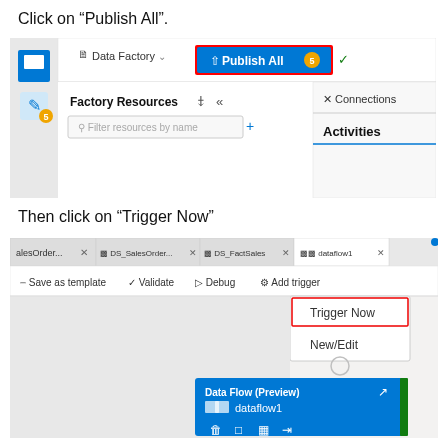Click on “Publish All”.
[Figure (screenshot): Azure Data Factory UI screenshot showing the 'Publish All' button highlighted with a red border. Shows Data Factory header with blue 'Publish All' button with badge '5', Factory Resources panel with filter box, and Connections/Activities tabs.]
Then click on “Trigger Now”
[Figure (screenshot): Azure Data Factory pipeline editor screenshot showing tabs (alesOrder..., DS_SalesOrder..., DS_FactSales, dataflow1), toolbar with Save as template, Validate, Debug, Add trigger options. A dropdown menu shows 'Trigger Now' (highlighted with red border) and 'New/Edit'. At bottom is a 'Data Flow (Preview)' activity block showing 'dataflow1'.]